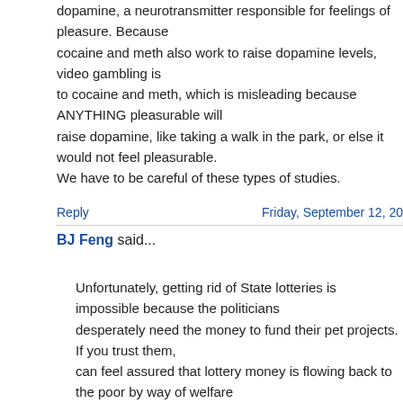dopamine, a neurotransmitter responsible for feelings of pleasure. Because cocaine and meth also work to raise dopamine levels, video gambling is compared to cocaine and meth, which is misleading because ANYTHING pleasurable will raise dopamine, like taking a walk in the park, or else it would not feel pleasurable. We have to be careful of these types of studies.
Reply
Friday, September 12, 20
BJ Feng said...
Unfortunately, getting rid of State lotteries is impossible because the politicians desperately need the money to fund their pet projects. If you trust them, you can feel assured that lottery money is flowing back to the poor by way of spending, with some diverted to education and transportation.
The "vig" of 30% or so is pretty high compared to the games we're used to in Vegas. I believe Keno, one of the worst games to play, only has a vig of 30% or so. Because government has a monopoly, there's no pressure or competition that will improve odds, and I hope that they're collecting information so that the percentage maximizes revenue (if it were 100%, no one would play) but I wouldn't be surprised if they didn't.
I don't think you could get rich people to play the lottery more often because there is no reason for them to. Think about it, winning the lottery for a poor person...